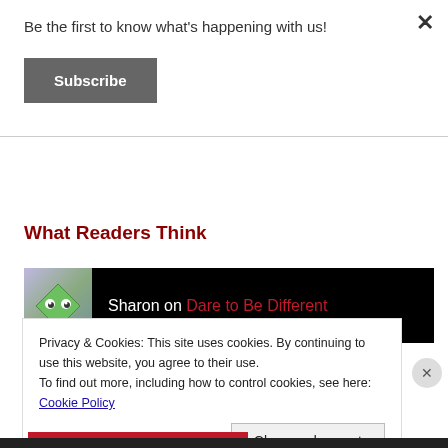Be the first to know what's happening with us!
Subscribe
What Readers Think
Sharon on Dare to Be Different
Privacy & Cookies: This site uses cookies. By continuing to use this website, you agree to their use.
To find out more, including how to control cookies, see here: Cookie Policy
Close and accept